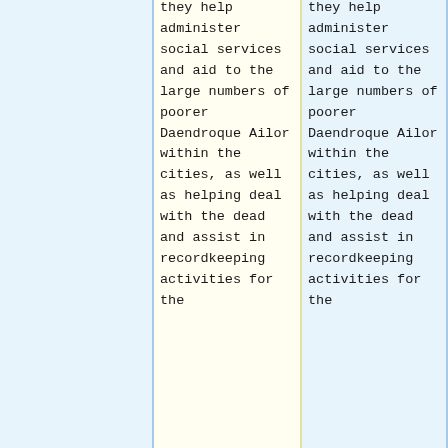they help administer social services and aid to the large numbers of poorer Daendroque Ailor within the cities, as well as helping deal with the dead and assist in recordkeeping activities for the
they help administer social services and aid to the large numbers of poorer Daendroque Ailor within the cities, as well as helping deal with the dead and assist in recordkeeping activities for the